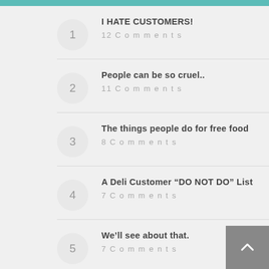I HATE CUSTOMERS! — 12 Comments
People can be so cruel.. — 11 Comments
The things people do for free food — 8 Comments
A Deli Customer "DO NOT DO" List — 7 Comments
We'll see about that. — 7 Comments